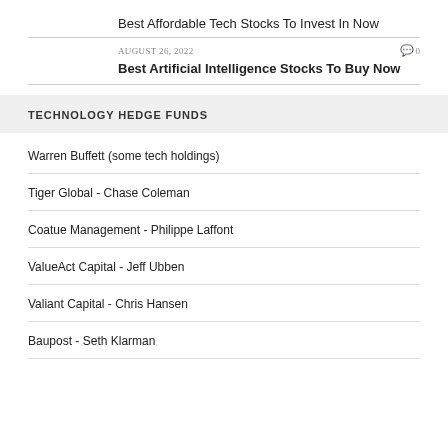Best Affordable Tech Stocks To Invest In Now
AUGUST 26, 2022   0
Best Artificial Intelligence Stocks To Buy Now
TECHNOLOGY HEDGE FUNDS
Warren Buffett (some tech holdings)
Tiger Global - Chase Coleman
Coatue Management - Philippe Laffont
ValueAct Capital - Jeff Ubben
Valiant Capital - Chris Hansen
Baupost - Seth Klarman